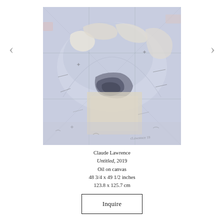[Figure (illustration): Abstract oil painting with muted blue, lavender, and cream tones showing gestural marks, grid lines, and layered paint textures. Includes a faint artist signature at lower right.]
Claude Lawrence
Untitled, 2019
Oil on canvas
48 3/4 x 49 1/2 inches
123.8 x 125.7 cm